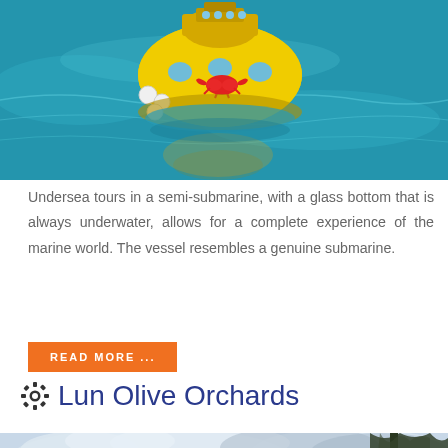[Figure (photo): Yellow semi-submarine vessel floating on turquoise blue water, with a red crab logo on its side and white buoys attached]
Undersea tours in a semi-submarine, with a glass bottom that is always underwater, allows for a complete experience of the marine world. The vessel resembles a genuine submarine.
READ MORE ...
⚙ Lun Olive Orchards
[Figure (photo): Cloudy sky with tree silhouette visible on the right edge]